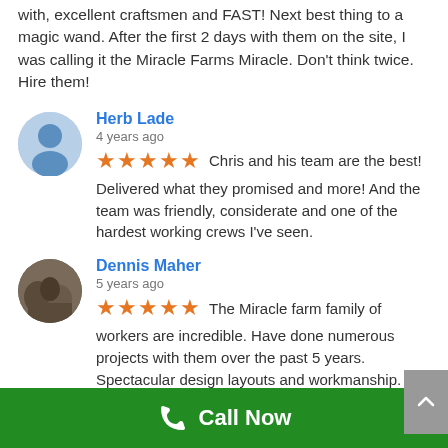with, excellent craftsmen and FAST!  Next best thing to a magic wand.  After the first 2 days with them on the site, I was calling it the Miracle Farms Miracle.   Don't think twice. Hire them!
Herb Lade
4 years ago
★★★★★ Chris and his team are the best!  Delivered what they promised and more!  And the team was friendly, considerate and one of the hardest working crews I've seen.
Dennis Maher
5 years ago
★★★★★ The Miracle farm family of workers are incredible. Have done numerous projects with them over the past 5 years. Spectacular design layouts and workmanship. They continue to complete projects beyond my expectations. Happy day!
Call Now